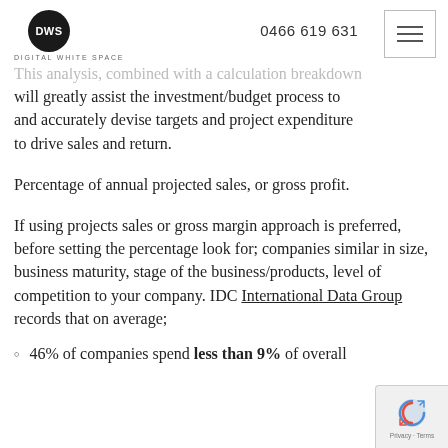DWS Digital White Space | 0466 619 631
This analysis, combined with a calculation breakdown will greatly assist the investment/budget process to and accurately devise targets and project expenditure to drive sales and return.
Percentage of annual projected sales, or gross profit.
If using projects sales or gross margin approach is preferred, before setting the percentage look for; companies similar in size, business maturity, stage of the business/products, level of competition to your company. IDC International Data Group records that on average;
46% of companies spend less than 9% of overall